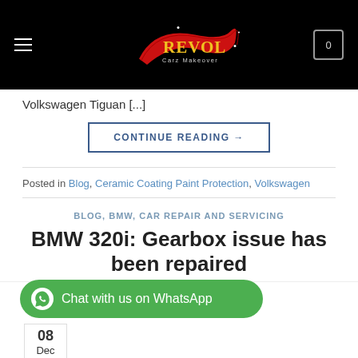[Figure (logo): Revol Carz Makeover logo on black background with hamburger menu and cart icon]
Volkswagen Tiguan [...]
CONTINUE READING →
Posted in Blog, Ceramic Coating Paint Protection, Volkswagen
BLOG, BMW, CAR REPAIR AND SERVICING
BMW 320i: Gearbox issue has been repaired
POSTED ON DECEMBER 8, 2017 BY ADMIN
[Figure (screenshot): WhatsApp chat button overlay and date box showing 08 Dec]